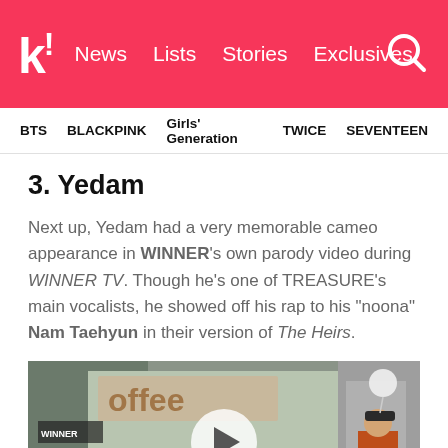k! News Lists Stories Exclusives
BTS  BLACKPINK  Girls' Generation  TWICE  SEVENTEEN
3. Yedam
Next up, Yedam had a very memorable cameo appearance in WINNER's own parody video during WINNER TV. Though he's one of TREASURE's main vocalists, he showed off his rap to his "noona" Nam Taehyun in their version of The Heirs.
[Figure (photo): Video thumbnail showing people outside a coffee shop, with a circular play button overlay in the center.]